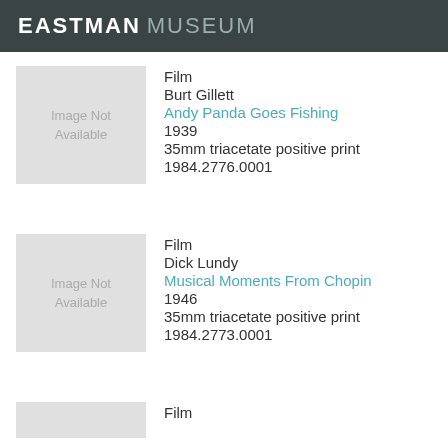EASTMAN MUSEUM
Film
Burt Gillett
Andy Panda Goes Fishing
1939
35mm triacetate positive print
1984.2776.0001
Film
Dick Lundy
Musical Moments From Chopin
1946
35mm triacetate positive print
1984.2773.0001
Film